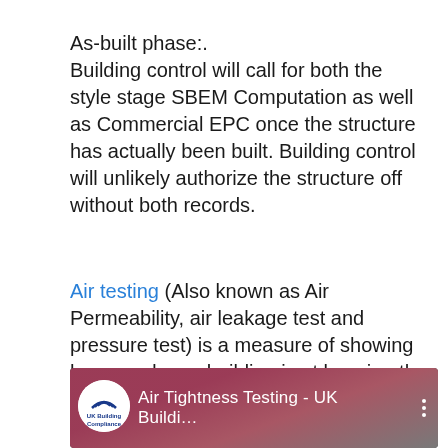As-built phase:.
Building control will call for both the style stage SBEM Computation as well as Commercial EPC once the structure has actually been built. Building control will unlikely authorize the structure off without both records.
Air testing (Also known as Air Permeability, air leakage test and pressure test) is a measure of showing how good your building is at keeping the head in and the cold out.
[Figure (screenshot): Video thumbnail showing 'Air Tightness Testing - UK Buildi...' with UK Building Compliance logo on a dark reddish background with three vertical dots menu icon.]